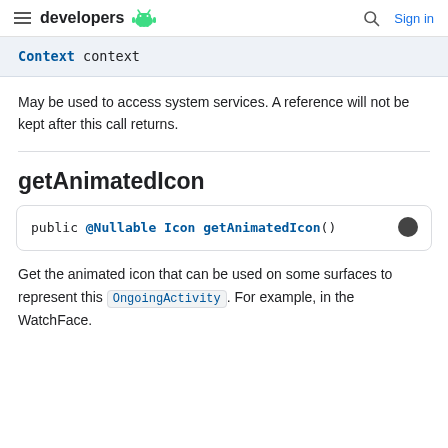developers [android logo] | search | Sign in
Context context
May be used to access system services. A reference will not be kept after this call returns.
getAnimatedIcon
public @Nullable Icon getAnimatedIcon()
Get the animated icon that can be used on some surfaces to represent this OngoingActivity. For example, in the WatchFace.